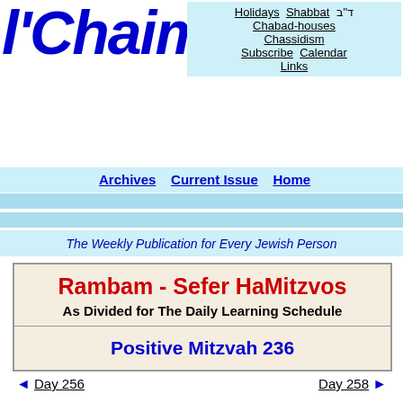[Figure (logo): L'Chaim cursive blue logo]
Holidays  Shabbat  ד״ב  Chabad-houses  Chassidism  Subscribe  Calendar  Links
Archives  Current Issue  Home
The Weekly Publication for Every Jewish Person
Rambam - Sefer HaMitzvos
As Divided for The Daily Learning Schedule
Positive Mitzvah 236
[Figure (illustration): Circular portrait illustration of Rambam (Maimonides) wearing a white turban, with a beard, set against a colorful background]
◄ Day 256    Day 258 ►